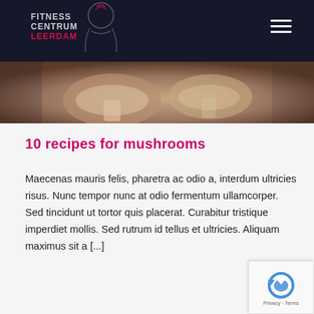FITNESS CENTRUM LEERDAM
[Figure (photo): Mushrooms hero image with dark navy navigation bar overlay at top containing FITNESS CENTRUM LEERDAM logo and hamburger menu icon]
10 recipes for mushrooms
Maecenas mauris felis, pharetra ac odio a, interdum ultricies risus. Nunc tempor nunc at odio fermentum ullamcorper. Sed tincidunt ut tortor quis placerat. Curabitur tristique imperdiet mollis. Sed rutrum id tellus et ultricies. Aliquam maximus sit a [...]